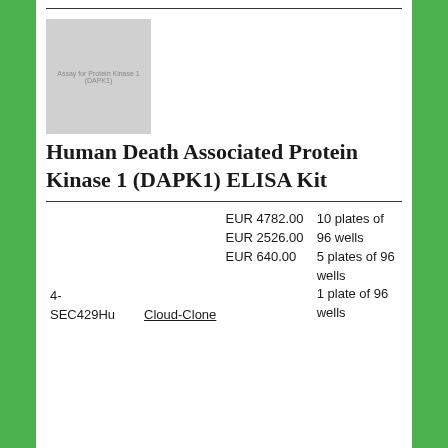[Figure (photo): Product image placeholder showing 'Assay for Protein Kinase 1 (DAPK1)' text on grey background]
Human Death Associated Protein Kinase 1 (DAPK1) ELISA Kit
|  | Supplier | Price | Size |
| --- | --- | --- | --- |
| 4-SEC429Hu | Cloud-Clone | EUR 4782.00
EUR 2526.00
EUR 640.00 | 10 plates of 96 wells
5 plates of 96 wells
1 plate of 96 wells |